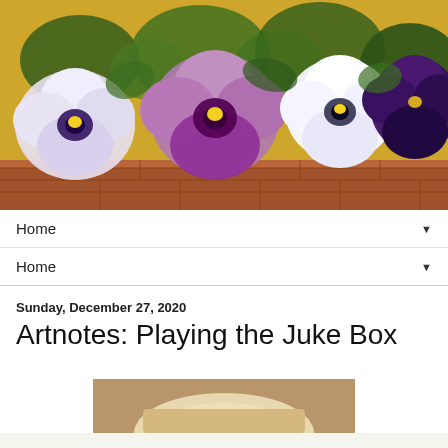[Figure (illustration): A painting of colorful pansy flowers (white, purple, lavender, dark purple) with green leaves against a golden-yellow background, with a brick ledge at the bottom.]
Home ▼
Home ▼
Sunday, December 27, 2020
Artnotes: Playing the Juke Box
[Figure (photo): Partial view of a photo at the bottom of the page, showing a top portion of what appears to be a hat or rounded object.]